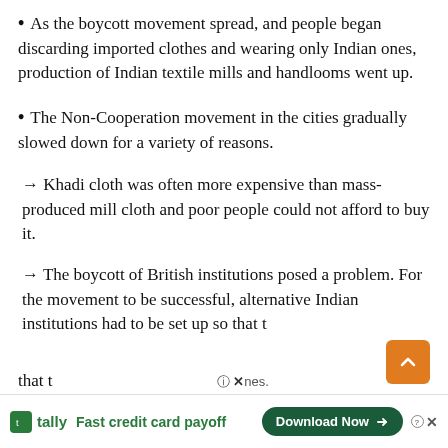As the boycott movement spread, and people began discarding imported clothes and wearing only Indian ones, production of Indian textile mills and handlooms went up.
The Non-Cooperation movement in the cities gradually slowed down for a variety of reasons.
→ Khadi cloth was often more expensive than mass-produced mill cloth and poor people could not afford to buy it.
→ The boycott of British institutions posed a problem. For the movement to be successful, alternative Indian institutions had to be set up so that t [truncated] nes.
These Fast credit card payoff [ad overlay]